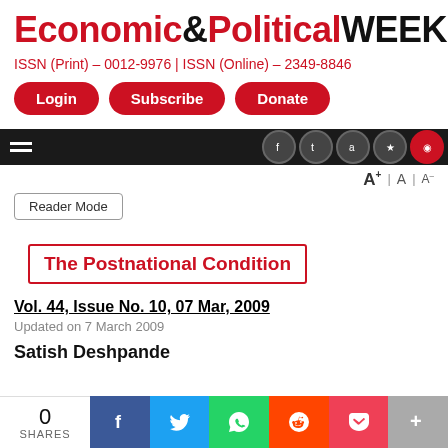Economic & Political WEEKLY
ISSN (Print) – 0012-9976 | ISSN (Online) – 2349-8846
Login | Subscribe | Donate
[Figure (screenshot): Navigation bar with hamburger menu and social icons, font-size controls (A+ A A-), and Reader Mode button]
The Postnational Condition
Vol. 44, Issue No. 10, 07 Mar, 2009
Updated on 7 March 2009
Satish Deshpande
0 SHARES